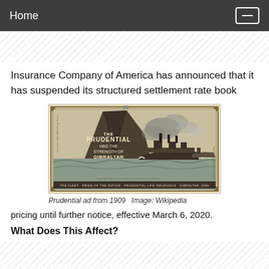Home
Insurance Company of America has announced that it has suspended its structured settlement rate book
[Figure (illustration): Vintage Prudential Insurance advertisement from 1909 showing a naval warship at sea with the Rock of Gibraltar in the background. Text on image reads: THE PRUDENTIAL HAS THE STRENGTH OF GIBRALTAR.]
Prudential ad from 1909   Image: Wikipedia
pricing until further notice, effective March 6, 2020.
What Does This Affect?